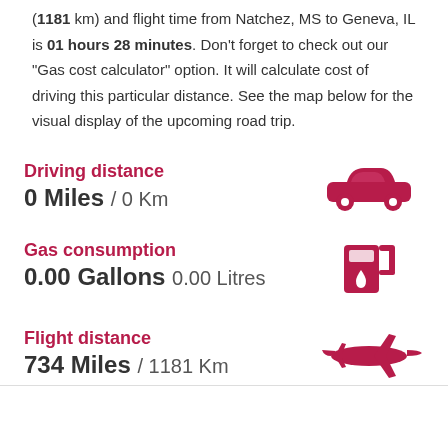(1181 km) and flight time from Natchez, MS to Geneva, IL is 01 hours 28 minutes. Don't forget to check out our "Gas cost calculator" option. It will calculate cost of driving this particular distance. See the map below for the visual display of the upcoming road trip.
Driving distance
0 Miles / 0 Km
[Figure (illustration): Red car icon]
Gas consumption
0.00 Gallons 0.00 Litres
[Figure (illustration): Red gas pump icon]
Flight distance
734 Miles / 1181 Km
[Figure (illustration): Red airplane icon]